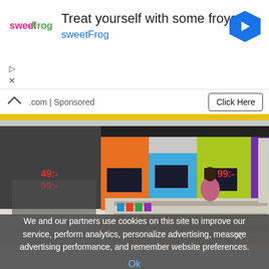[Figure (logo): sweetFrog logo — pink and green text]
Treat yourself with some froyo
sweetFrog
[Figure (logo): Google Maps navigation diamond icon, blue with white arrow]
.com | Sponsored
Click Here
[Figure (photo): Interior of a consumer electronics retail store with colorful wall panels (orange, blue, green, purple, yellow) displaying TVs and mobile devices, shelves of products, a woman browsing]
We and our partners use cookies on this site to improve our service, perform analytics, personalize advertising, measure advertising performance, and remember website preferences.
Ok